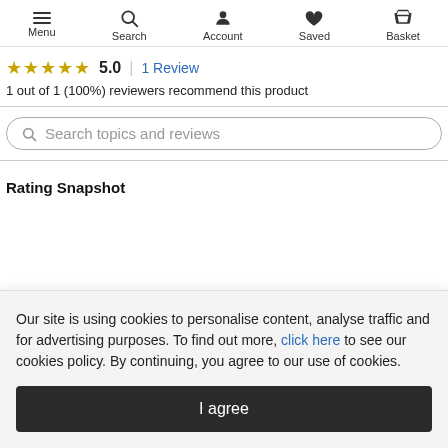Menu | Search | Account | Saved | Basket
★★★★★ 5.0 | 1 Review
1 out of 1 (100%) reviewers recommend this product
Search topics and reviews
Rating Snapshot
Our site is using cookies to personalise content, analyse traffic and for advertising purposes. To find out more, click here to see our cookies policy. By continuing, you agree to our use of cookies.
I agree